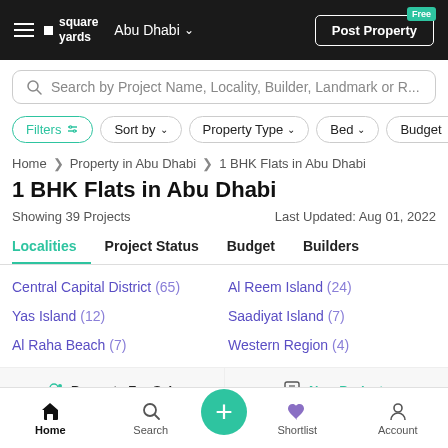square yards — Abu Dhabi — Post Property Free
Search by Project Name, Locality, Builder, Landmark or R...
Filters  Sort by  Property Type  Bed  Budget
Home > Property in Abu Dhabi > 1 BHK Flats in Abu Dhabi
1 BHK Flats in Abu Dhabi
Showing 39 Projects   Last Updated: Aug 01, 2022
Localities  Project Status  Budget  Builders
Central Capital District (65)
Al Reem Island (24)
Yas Island (12)
Saadiyat Island (7)
Al Raha Beach (7)
Western Region (4)
Property For Sale   New Projects
Home  Search  +  Shortlist  Account